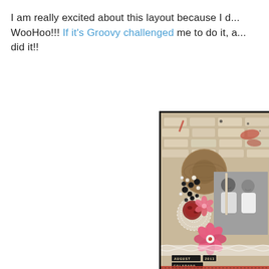I am really excited about this layout because I d... WooHoo!!! If it's Groovy challenged me to do it, a... did it!!
[Figure (photo): A scrapbook layout page with a beige brick-textured background, circular wooden medallion, decorative gem clusters, lace doily, pink flowers, a black and white photo of two people smiling, and text labels reading 'AUGUST', 'COLORADO' at the bottom.]